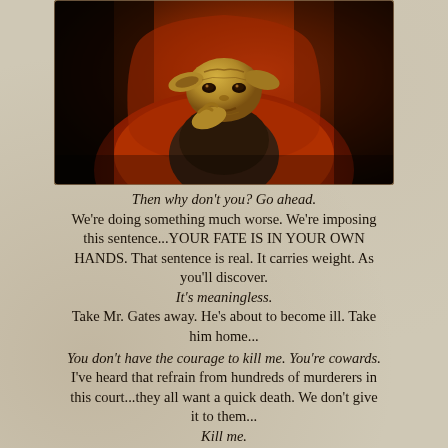[Figure (photo): CG/rendered image of Yoda character from Star Wars, seated in an orange curved chair, contemplative pose with hand near face, dramatic lighting with dark background]
Then why don't you? Go ahead.
We're doing something much worse. We're imposing this sentence...YOUR FATE IS IN YOUR OWN HANDS. That sentence is real. It carries weight. As you'll discover.
It's meaningless.
Take Mr. Gates away. He's about to become ill. Take him home...
You don't have the courage to kill me. You're cowards. I've heard that refrain from hundreds of murderers in this court...they all want a quick death. We don't give it to them...
Kill me.